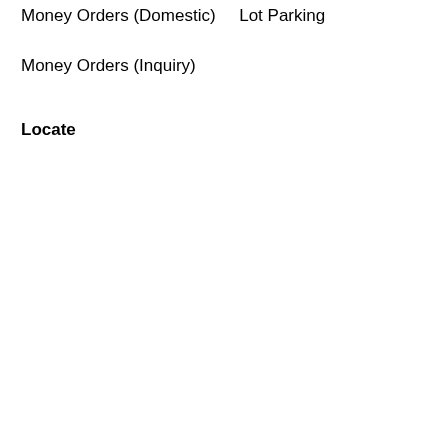Money Orders (Domestic)    Lot Parking
Money Orders (Inquiry)
Locate